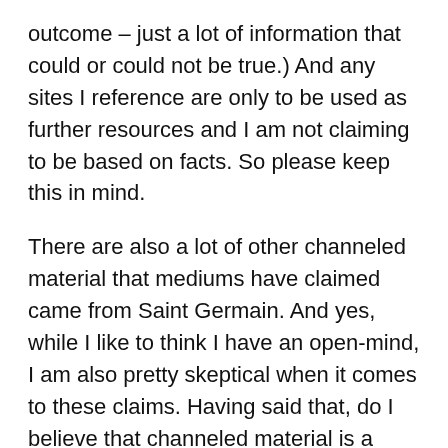outcome – just a lot of information that could or could not be true.) And any sites I reference are only to be used as further resources and I am not claiming to be based on facts. So please keep this in mind.
There are also a lot of other channeled material that mediums have claimed came from Saint Germain. And yes, while I like to think I have an open-mind, I am also pretty skeptical when it comes to these claims. Having said that, do I believe that channeled material is a possibility?
Yes. Yes I do. But I am also aware of the dangers and deception that these spirits/entities/what have you, can pull on the public, much less the